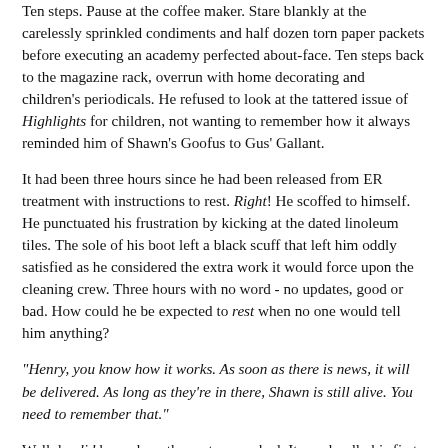Ten steps. Pause at the coffee maker. Stare blankly at the carelessly sprinkled condiments and half dozen torn paper packets before executing an academy perfected about-face. Ten steps back to the magazine rack, overrun with home decorating and children's periodicals. He refused to look at the tattered issue of Highlights for children, not wanting to remember how it always reminded him of Shawn's Goofus to Gus' Gallant.
It had been three hours since he had been released from ER treatment with instructions to rest. Right! He scoffed to himself. He punctuated his frustration by kicking at the dated linoleum tiles. The sole of his boot left a black scuff that left him oddly satisfied as he considered the extra work it would force upon the cleaning crew. Three hours with no word - no updates, good or bad. How could he be expected to rest when no one would tell him anything?
"Henry, you know how it works. As soon as there is news, it will be delivered. As long as they're in there, Shawn is still alive. You need to remember that."
Well, he did know how the system worked. It was hardly his first visit to the ER waiting room. The circumstances surrounding the visit, however, were radically different than anything he had ever experienced on this side of the uniform.
Though he had grunted off Vick's words of encouragement, he